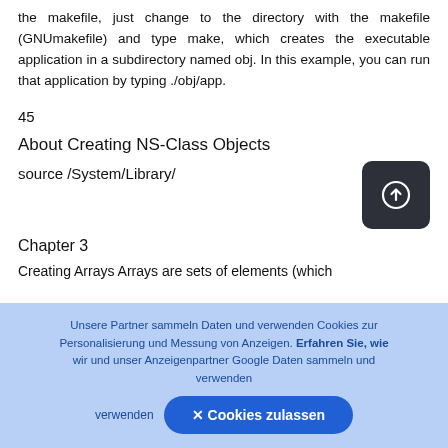the makefile, just change to the directory with the makefile (GNUmakefile) and type make, which creates the executable application in a subdirectory named obj. In this example, you can run that application by typing ./obj/app.
45
About Creating NS-Class Objects
source /System/Library/
Chapter 3
Creating Arrays Arrays are sets of elements (which
Unsere Partner sammeln Daten und verwenden Cookies zur Personalisierung und Messung von Anzeigen. Erfahren Sie, wie wir und unser Anzeigenpartner Google Daten sammeln und verwenden